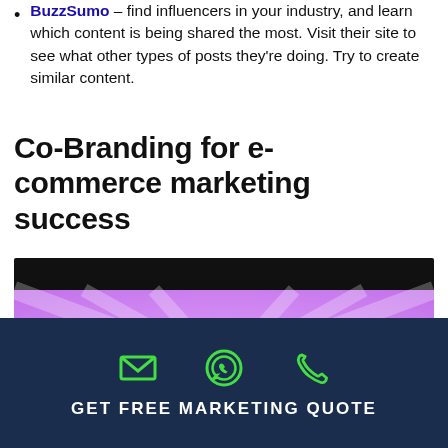BuzzSumo – find influencers in your industry, and learn which content is being shared the most. Visit their site to see what other types of posts they're doing. Try to create similar content.
Co-Branding for e-commerce marketing success
[Figure (illustration): Co-Branding promotional graphic with large pink/magenta bold text reading CO-BRANDING on a purple/lavender background with a superhero figure and diamond shapes.]
GET FREE MARKETING QUOTE